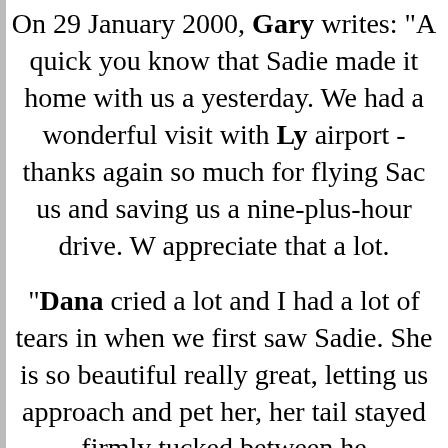On 29 January 2000, Gary writes: "A quick you know that Sadie made it home with us a yesterday. We had a wonderful visit with Ly airport - thanks again so much for flying Sac us and saving us a nine-plus-hour drive. W appreciate that a lot.
"Dana cried a lot and I had a lot of tears in when we first saw Sadie. She is so beautiful really great, letting us approach and pet her, her tail stayed firmly tucked between he
"We could not get Sadie to go to the bathro airport or drink any water. So we packed headed home. When you said she could eas into the back of an SUV you were not kiddin only we can teach Gromit & McKenzie to McKenzie used to jump up into the vehicl